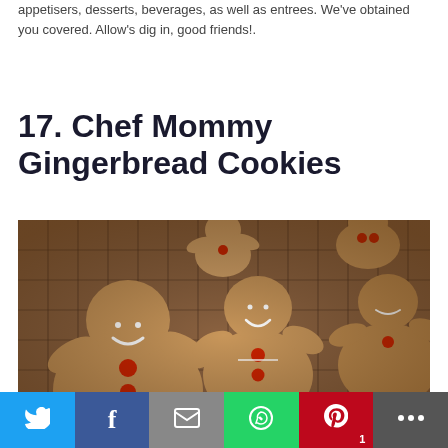appetisers, desserts, beverages, as well as entrees. We've obtained you covered. Allow's dig in, good friends!.
17. Chef Mommy Gingerbread Cookies
[Figure (photo): Photo of gingerbread man cookies decorated with white icing and red candy buttons, arranged on a wire cooling rack]
Social share bar with Twitter, Facebook, Email, WhatsApp, Pinterest (1), More buttons